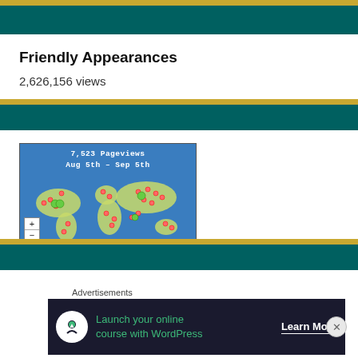Friendly Appearances
2,626,156 views
[Figure (map): World map showing 7,523 Pageviews from Aug 5th - Sep 5th, with red and green dots indicating visitor locations across the globe. Includes zoom (+/-) controls.]
Advertisements
[Figure (infographic): Advertisement banner: Launch your online course with WordPress - Learn More]